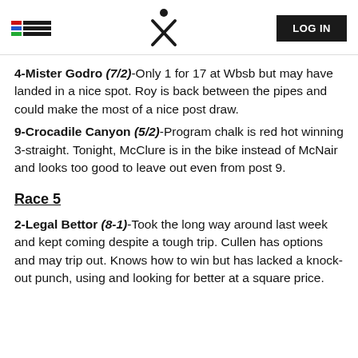LOG IN
4-Mister Godro (7/2)-Only 1 for 17 at Wbsb but may have landed in a nice spot. Roy is back between the pipes and could make the most of a nice post draw.
9-Crocadile Canyon (5/2)-Program chalk is red hot winning 3-straight. Tonight, McClure is in the bike instead of McNair and looks too good to leave out even from post 9.
Race 5
2-Legal Bettor (8-1)-Took the long way around last week and kept coming despite a tough trip. Cullen has options and may trip out. Knows how to win but has lacked a knock-out punch, using and looking for better at a square price.